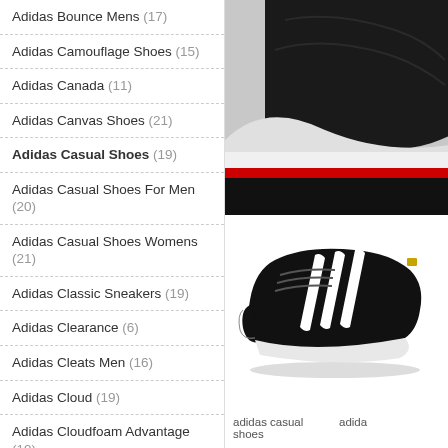Adidas Bounce Mens (17)
Adidas Camouflage Shoes (15)
Adidas Canada (11)
Adidas Canvas Shoes (21)
Adidas Casual Shoes (19)
Adidas Casual Shoes For Men (20)
Adidas Casual Shoes Womens (21)
Adidas Classic Sneakers (19)
Adidas Clearance (6)
Adidas Cleats Men (16)
Adidas Cloud (19)
Adidas Cloudfoam Advantage (19)
Adidas Cloudfoam Black (10)
Adidas Cloudfoam Men (18)
Adidas Cloudfoam Ortholite (12)
[Figure (photo): Close-up of back of a black Adidas sneaker with white sole and red accent stripe]
[Figure (photo): Black Adidas Superstar sneaker with white three stripes and gold logo tab]
adidas casual shoes
adida